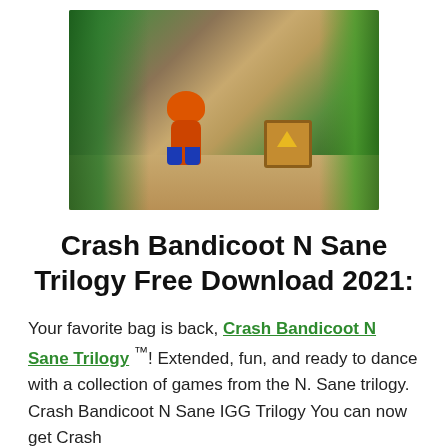[Figure (screenshot): Screenshot of Crash Bandicoot N Sane Trilogy gameplay showing the character running through a jungle path with a crate nearby.]
Crash Bandicoot N Sane Trilogy Free Download 2021:
Your favorite bag is back, Crash Bandicoot N Sane Trilogy ™! Extended, fun, and ready to dance with a collection of games from the N. Sane trilogy. Crash Bandicoot N Sane IGG Trilogy You can now get Crash